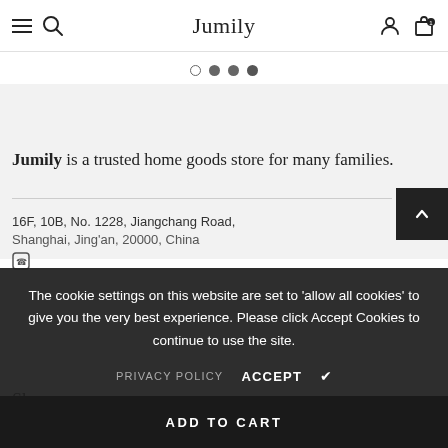Jumily
[Figure (other): Carousel navigation dots: one empty circle followed by three filled circles]
Jumily is a trusted home goods store for many families.
16F, 10B, No. 1228, Jiangchang Road,
Shanghai, Jing'an, 20000, China
The cookie settings on this website are set to 'allow all cookies' to give you the very best experience. Please click Accept Cookies to continue to use the site.
PRIVACY POLICY   ACCEPT ✔
Shop
ADD TO CART